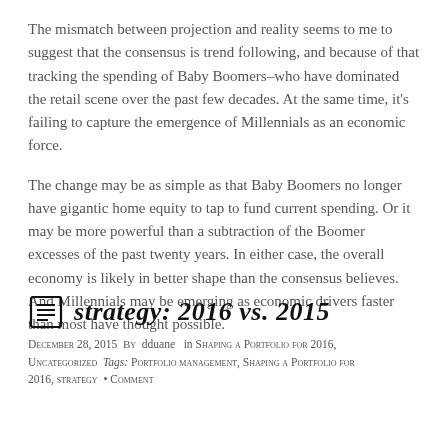The mismatch between projection and reality seems to me to suggest that the consensus is trend following, and because of that tracking the spending of Baby Boomers–who have dominated the retail scene over the past few decades.  At the same time, it's failing to capture the emergence of Millennials as an economic force.
The change may be as simple as that Baby Boomers no longer have gigantic home equity to tap to fund current spending.  Or it may be more powerful than a subtraction of the Boomer excesses of the past twenty years.  In either case, the overall economy is likely in better shape than the consensus believes.  And Millennials may be emerging as economic drivers faster than most have thought possible.
strategy: 2016 vs. 2015
December 28, 2015  By  dduane   in Shaping a Portfolio for 2016, Uncategorized  Tags: Portfolio management, Shaping a Portfolio for 2016, strategy  • Comment